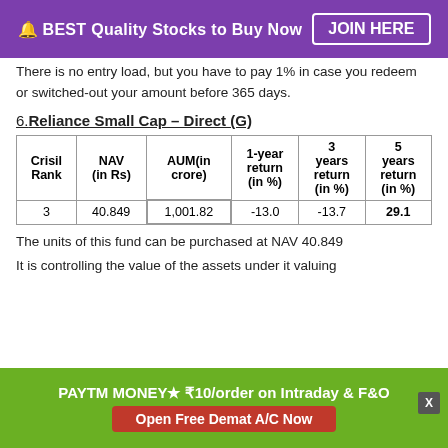🔔 BEST Quality Stocks to Buy Now   JOIN HERE
There is no entry load, but you have to pay 1% in case you redeem or switched-out your amount before 365 days.
6.Reliance Small Cap – Direct (G)
| Crisil Rank | NAV (in Rs) | AUM(in crore) | 1-year return (in %) | 3 years return (in %) | 5 years return (in %) |
| --- | --- | --- | --- | --- | --- |
| 3 | 40.849 | 1,001.82 | -13.0 | -13.7 | 29.1 |
The units of this fund can be purchased at NAV 40.849
It is controlling the value of the assets under it valuing
PAYTM MONEY★ ₹10/order on Intraday & F&O  Open Free Demat A/C Now